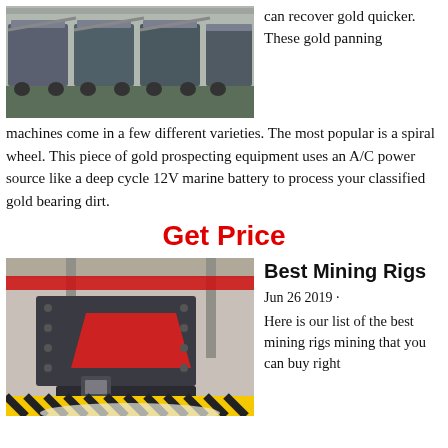[Figure (photo): Row of large industrial mining machines/vehicles in a warehouse or facility, multiple units lined up]
can recover gold quicker. These gold panning machines come in a few different varieties. The most popular is a spiral wheel. This piece of gold prospecting equipment uses an A/C power source like a deep cycle 12V marine battery to process your classified gold bearing dirt.
Get Price
[Figure (photo): Large industrial mining crusher machine, dark grey/black color with red interior, in a factory setting with yellow-black striped safety markings and white aggregate on floor]
Best Mining Rigs
Jun 26 2019 · Here is our list of the best mining rigs mining that you can buy right now. Sho...